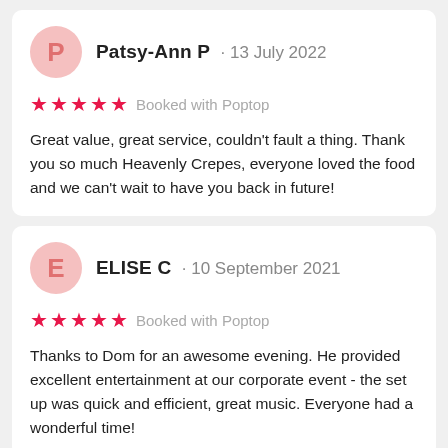Patsy-Ann P · 13 July 2022
★★★★★ Booked with Poptop
Great value, great service, couldn't fault a thing. Thank you so much Heavenly Crepes, everyone loved the food and we can't wait to have you back in future!
ELISE C · 10 September 2021
★★★★★ Booked with Poptop
Thanks to Dom for an awesome evening. He provided excellent entertainment at our corporate event - the set up was quick and efficient, great music. Everyone had a wonderful time!